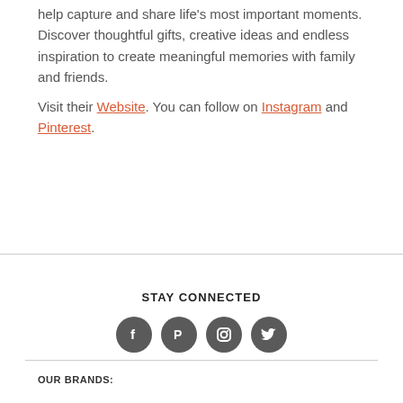help capture and share life's most important moments. Discover thoughtful gifts, creative ideas and endless inspiration to create meaningful memories with family and friends.
Visit their Website. You can follow on Instagram and Pinterest.
STAY CONNECTED
[Figure (infographic): Four circular dark gray social media icons: Facebook, Pinterest, Instagram, Twitter]
OUR BRANDS: